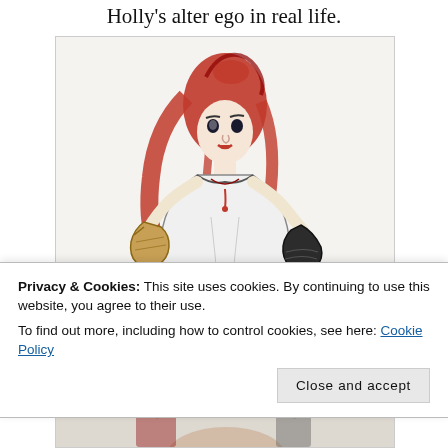Holly's alter ego in real life.
[Figure (illustration): Fashion illustration of a woman with long red hair wearing a white dress, holding what appears to be a bag on one arm and another item on the other arm. The style is a hand-drawn sketch with red and black ink on white background.]
[Figure (illustration): Partial view of another illustration at the bottom of the page, partially hidden by cookie banner.]
Privacy & Cookies: This site uses cookies. By continuing to use this website, you agree to their use.
To find out more, including how to control cookies, see here: Cookie Policy
Close and accept